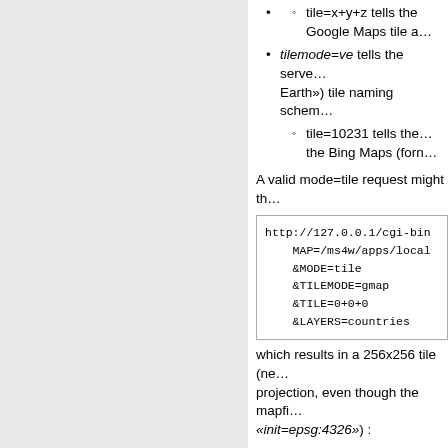tile=x+y+z tells the Google Maps tile a…
tilemode=ve tells the server… («Virtual Earth») tile naming scheme…
tile=10231 tells the… the Bing Maps (form…
A valid mode=tile request might th…
http://127.0.0.1/cgi-bin
    MAP=/ms4w/apps/local
    &MODE=tile
    &TILEMODE=gmap
    &TILE=0+0+0
    &LAYERS=countries
which results in a 256x256 tile (no… projection, even though the mapf… «init=epsg:4326») :
[Figure (map): World map showing countries in grey, with labels for Greenland, Canada, France, and other regions visible.]